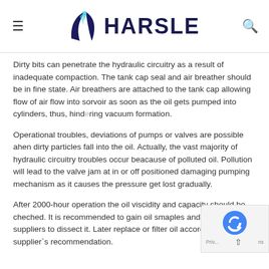HARSLE
Dirty bits can penetrate the hydraulic circuitry as a result of inadequate compaction. The tank cap seal and air breather should be in fine state. Air breathers are attached to the tank cap allowing flow of air flow into the reservoir as soon as the oil gets pumped into cylinders, thus, hindering vacuum formation.
Operational troubles, deviations of pumps or valves are possible ahen dirty particles fall into the oil. Actually, the vast majority of hydraulic circuitry troubles occur beacause of polluted oil. Pollution will lead to the valve jam at in or off positioned damaging pumping mechanism as it causes the pressure get lost gradually.
After 2000-hour operation the oil viscidity and capacity should be cheched. It is recommended to gain oil smaples and get your oil suppliers to dissect it. Later replace or filter oil according to the supplier`s recommendation.